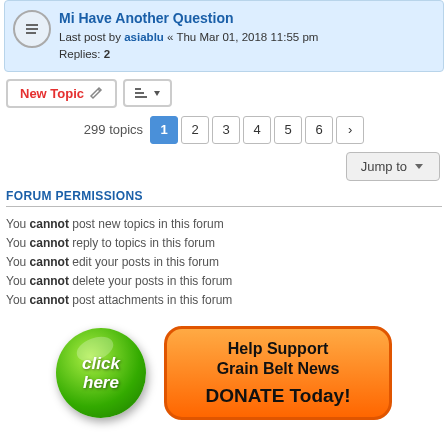Mi Have Another Question — Last post by asiablu « Thu Mar 01, 2018 11:55 pm — Replies: 2
New Topic | sort | 299 topics | pages 1 2 3 4 5 6 >
Jump to
FORUM PERMISSIONS
You cannot post new topics in this forum
You cannot reply to topics in this forum
You cannot edit your posts in this forum
You cannot delete your posts in this forum
You cannot post attachments in this forum
[Figure (illustration): Green glossy circle button with 'click here' text and orange rounded rectangle banner saying 'Help Support Grain Belt News DONATE Today!']